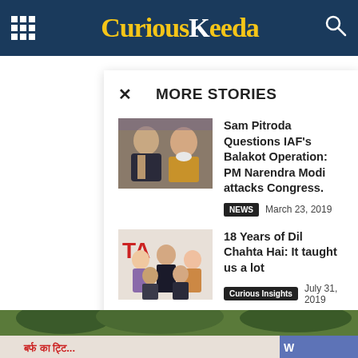CuriousKeeda navigation header
MORE STORIES
Sam Pitroda Questions IAF's Balakot Operation: PM Narendra Modi attacks Congress. NEWS March 23, 2019
18 Years of Dil Chahta Hai: It taught us a lot Curious Insights July 31, 2019
[Figure (photo): Bottom banner photo showing outdoor scene with Hindi text on a sign/banner]
[Figure (photo): Thumbnail showing Sam Pitroda and PM Narendra Modi]
[Figure (photo): Thumbnail showing Dil Chahta Hai movie poster with cast]